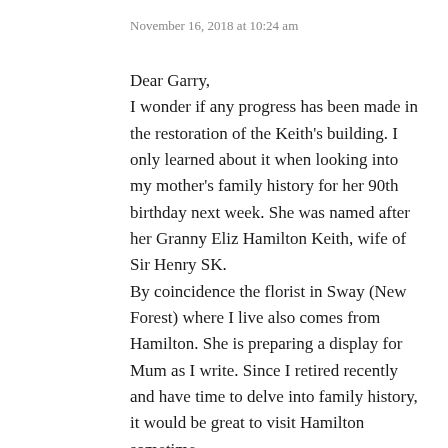November 16, 2018 at 10:24 am
Dear Garry,
I wonder if any progress has been made in the restoration of the Keith's building. I only learned about it when looking into my mother's family history for her 90th birthday next week. She was named after her Granny Eliz Hamilton Keith, wife of Sir Henry SK.
By coincidence the florist in Sway (New Forest) where I live also comes from Hamilton. She is preparing a display for Mum as I write. Since I retired recently and have time to delve into family history, it would be great to visit Hamilton sometime.
My best wishes
Michael McCabe
Great grandson of Sir Henry!